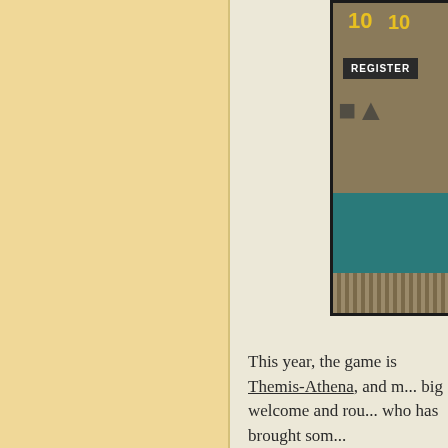[Figure (photo): A board game box or promotional image with 'REGISTER' button overlay, showing game pieces and numbers in yellow, with a teal/dark color scheme. The image is framed with a dark border.]
This year, the game is Themis-Athena, and r... big welcome and rou... who has brought som...
The rules of the gam... twist, however, conce...